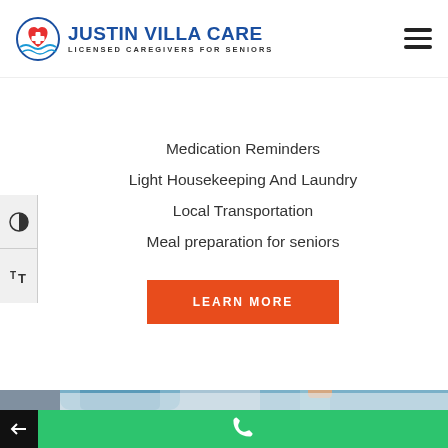[Figure (logo): Justin Villa Care logo with heart/medical icon and blue text, tagline 'Licensed Caregivers for Seniors']
Medication Reminders
Light Housekeeping And Laundry
Local Transportation
Meal preparation for seniors
[Figure (other): LEARN MORE orange button]
[Figure (photo): Caregiver in blue scrubs feeding an elderly woman who is smiling]
[Figure (other): Green bottom bar with phone icon; black left panel with back arrow]